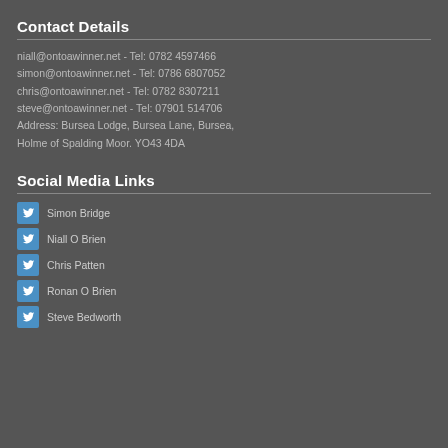Contact Details
niall@ontoawinner.net - Tel: 0782 4597466
simon@ontoawinner.net - Tel: 0786 6807052
chris@ontoawinner.net - Tel: 0782 8307211
steve@ontoawinner.net - Tel: 07901 514706
Address: Bursea Lodge, Bursea Lane, Bursea, Holme of Spalding Moor. YO43 4DA
Social Media Links
Simon Bridge
Niall O Brien
Chris Patten
Ronan O Brien
Steve Bedworth